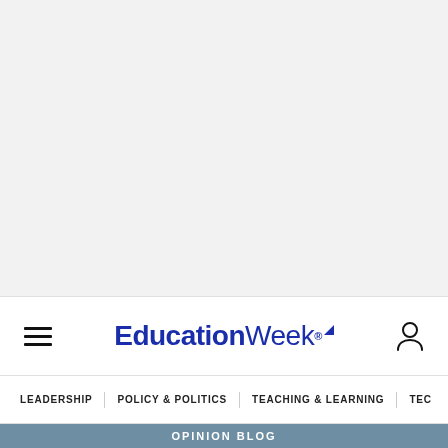EducationWeek
LEADERSHIP  POLICY & POLITICS  TEACHING & LEARNING  TEC
OPINION BLOG